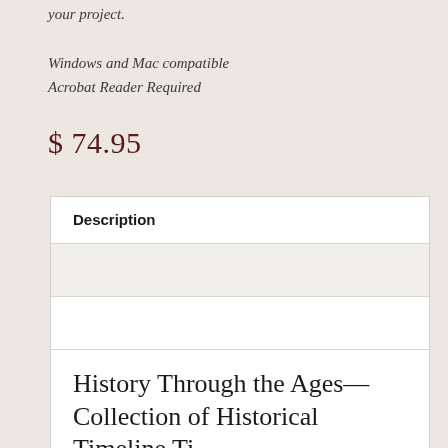your project.
Windows and Mac compatible
Acrobat Reader Required
$ 74.95
| Description |
| --- |
|  |
|  |
History Through the Ages—Collection of Historical Timeline Ti…